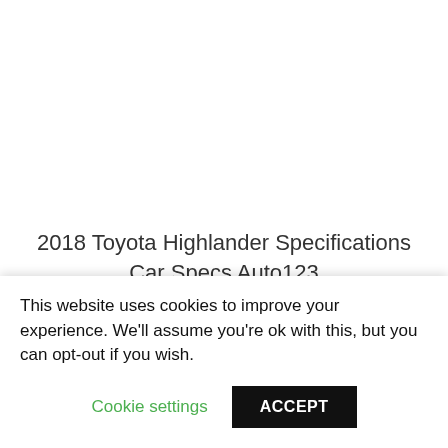2018 Toyota Highlander Specifications Car Specs Auto123
[Figure (other): Broken image placeholder with alt text: 2018 Toyota Highlander Cargo F]
This website uses cookies to improve your experience. We'll assume you're ok with this, but you can opt-out if you wish.
Cookie settings   ACCEPT